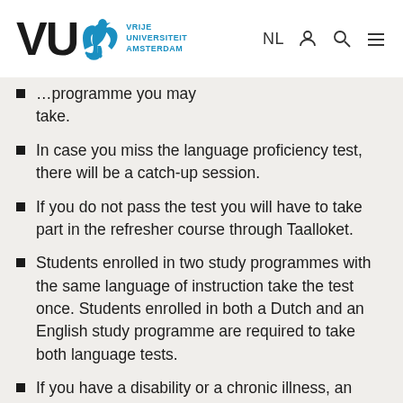VU Vrije Universiteit Amsterdam — NL navigation icons
…programme you may take.
In case you miss the language proficiency test, there will be a catch-up session.
If you do not pass the test you will have to take part in the refresher course through Taalloket.
Students enrolled in two study programmes with the same language of instruction take the test once. Students enrolled in both a Dutch and an English study programme are required to take both language tests.
If you have a disability or a chronic illness, an adapted workplace can be arranged.
Only in case you have previously taken and…